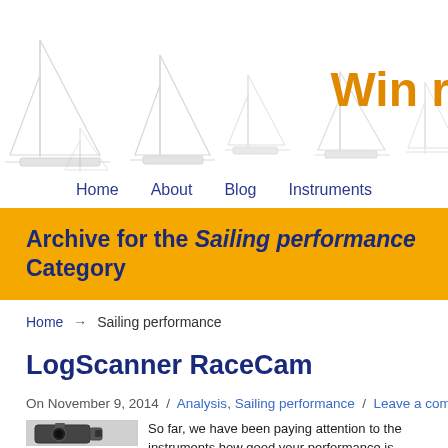[Figure (illustration): Sailboat outline illustrations as website header background, grey/light on white]
Win r
Home   About   Blog   Instruments
Archive for the Sailing performance Category
Home → Sailing performance
LogScanner RaceCam
On November 9, 2014  /  Analysis, Sailing performance  /  Leave a comment
[Figure (photo): Action camera photo (GoPro-style camera)]
So far, we have been paying attention to the instruments how good your performance is. However, there is another information with... We have decided to call this Ra...